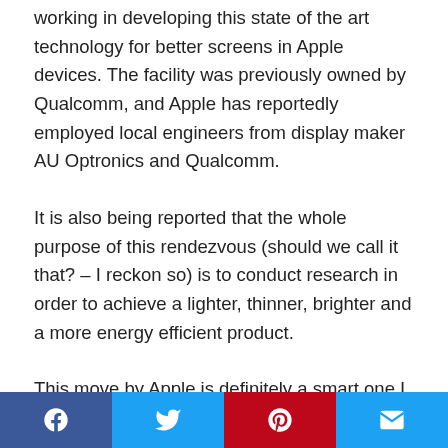working in developing this state of the art technology for better screens in Apple devices. The facility was previously owned by Qualcomm, and Apple has reportedly employed local engineers from display maker AU Optronics and Qualcomm.
It is also being reported that the whole purpose of this rendezvous (should we call it that? – I reckon so) is to conduct research in order to achieve a lighter, thinner, brighter and a more energy efficient product.
This move by Apple is definitely a smart one I feel like, because every now and then Samsung releases a new phone and is taking the global
[Figure (other): Social share bar with Facebook, Twitter, Pinterest, and email icons]